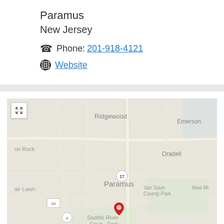Paramus
New Jersey
Phone: 201-918-4121
Website
[Figure (map): Google Maps view of Paramus, New Jersey area showing surrounding towns including Ridgewood, Emerson, Oradell, Fair Lawn, Van Saun County Park, New Milford, and Saddle River County Park. A red location pin is placed in southern Paramus. Route 17 is visible running north-south.]